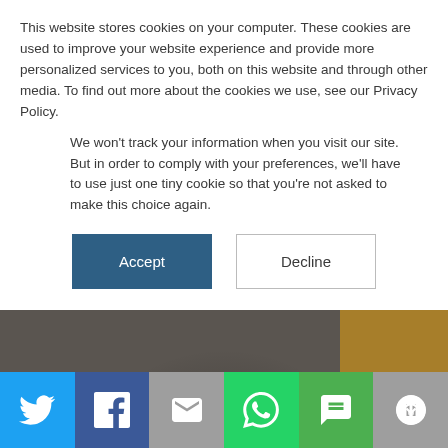This website stores cookies on your computer. These cookies are used to improve your website experience and provide more personalized services to you, both on this website and through other media. To find out more about the cookies we use, see our Privacy Policy.
We won't track your information when you visit our site. But in order to comply with your preferences, we'll have to use just one tiny cookie so that you're not asked to make this choice again.
Accept | Decline
[Figure (photo): Hero image showing people working at a desk/table in an office or classroom setting, with large white text 'repurposing' overlaid on the left side]
[Figure (infographic): Social sharing bar with 6 icons: Twitter (blue), Facebook (dark blue), Email (grey), WhatsApp (green), SMS (green), Share/other (grey)]